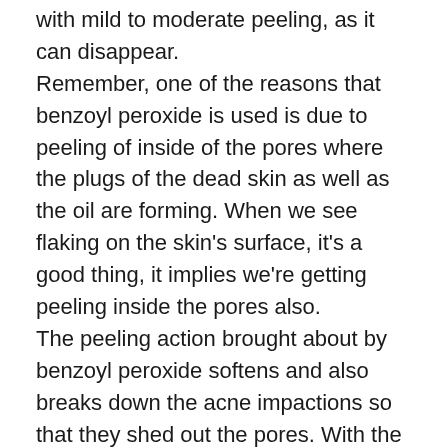with mild to moderate peeling, as it can disappear. Remember, one of the reasons that benzoyl peroxide is used is due to peeling of inside of the pores where the plugs of the dead skin as well as the oil are forming. When we see flaking on the skin's surface, it's a good thing, it implies we're getting peeling inside the pores also. The peeling action brought about by benzoyl peroxide softens and also breaks down the acne impactions so that they shed out the pores. With the consistent use, benzoyl peroxide also prevents the plugs from forming.
Skin Peeling on face Side Effects
The risks, and also the complications of the chemical peels are scarring, reactivation